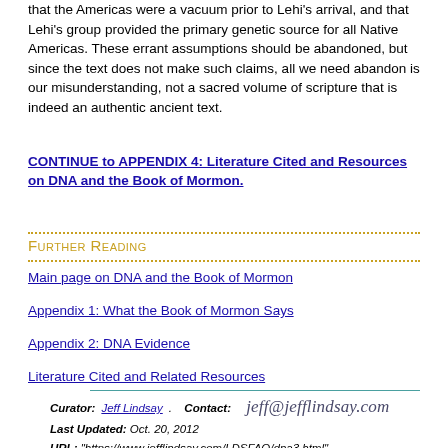that the Americas were a vacuum prior to Lehi's arrival, and that Lehi's group provided the primary genetic source for all Native Americas. These errant assumptions should be abandoned, but since the text does not make such claims, all we need abandon is our misunderstanding, not a sacred volume of scripture that is indeed an authentic ancient text.
CONTINUE to APPENDIX 4: Literature Cited and Resources on DNA and the Book of Mormon.
Further Reading
Main page on DNA and the Book of Mormon
Appendix 1: What the Book of Mormon Says
Appendix 2: DNA Evidence
Literature Cited and Related Resources
Curator: Jeff Lindsay. Contact: jeff@jefflindsay.com Last Updated: Oct. 20, 2012 URL: "https://www.jefflindsay.com/LDSFAQ/dna3.html"